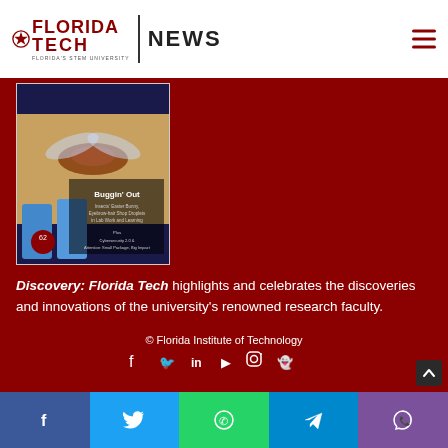FLORIDA TECH NEWS
[Figure (photo): Magazine cover showing 'Buggin Out' issue with close-up photo of insect (wasp/bee) on a hand, with blue containers in background. Florida Tech Discovery magazine issue 62.]
Discovery: Florida Tech highlights and celebrates the discoveries and innovations of the university's renowned research faculty.
© Florida Institute of Technology
[Figure (other): Social media share buttons: Facebook, Twitter, WhatsApp, Telegram, Viber]